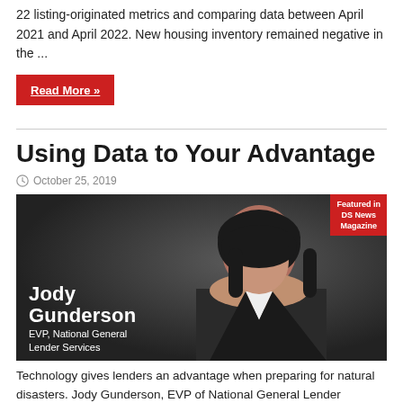22 listing-originated metrics and comparing data between April 2021 and April 2022. New housing inventory remained negative in the ...
Read More »
Using Data to Your Advantage
October 25, 2019
[Figure (photo): Featured image showing Jody Gunderson, EVP National General Lender Services, with 'Featured in DS News Magazine' badge in the top right corner. Dark background with white bold text overlay.]
Technology gives lenders an advantage when preparing for natural disasters. Jody Gunderson, EVP of National General Lender Services, discusses how technology has changed the